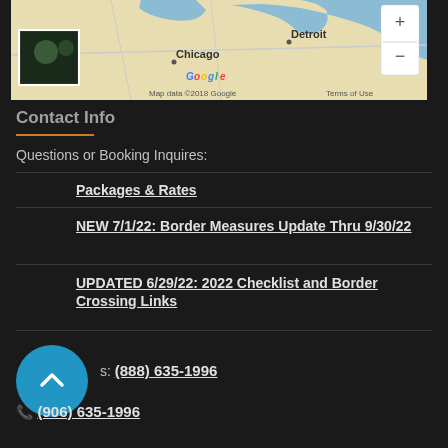[Figure (map): Google Maps screenshot showing the Great Lakes region with Chicago, Detroit labeled, plus zoom controls and a small photo thumbnail in the lower left. Map data ©2018 Google, Terms of Use.]
Contact Info
Questions or Booking Inquires:
Packages & Rates
NEW 7/1/22: Border Measures Update Thru 9/30/22
UPDATED 6/29/22: 2022 Checklist and Border Crossing Links
s: (888) 635-1996
(906) 635-1996